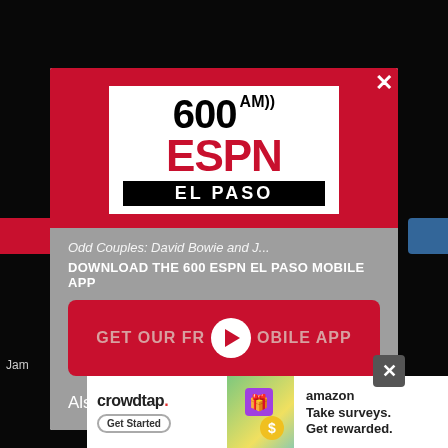[Figure (screenshot): Modal popup overlay on ESPN 600 AM El Paso radio website. The modal contains the station logo on a red background, a now-playing text line, a download prompt, a red 'GET OUR FREE MOBILE APP' button with a play icon, and an 'Also listen on: amazon alexa' section. Below the modal is a Crowdtap advertisement banner with Amazon branding.]
Odd Couples: David Bowie and J...
DOWNLOAD THE 600 ESPN EL PASO MOBILE APP
GET OUR FREE MOBILE APP
Also listen on:  amazon alexa
crowdtap
Get Started
amazon
Take surveys. Get rewarded.